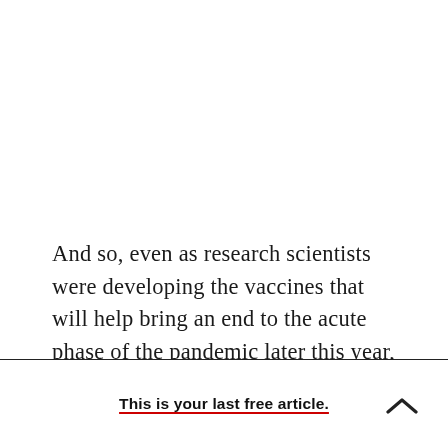And so, even as research scientists were developing the vaccines that will help bring an end to the acute phase of the pandemic later this year, the doctors at Mount Sinai and other academic medical centers began working to understand, and treat, the
This is your last free article.